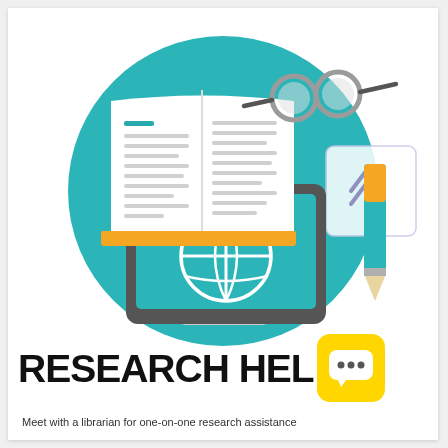[Figure (illustration): Flat design infographic illustration: a large teal circle background containing a desktop computer monitor (dark gray frame, teal screen with white globe/grid icon), an open book leaning against the monitor (yellow spine, white pages with text lines), a pencil (teal and orange), and eyeglasses. Upper right shows a partially visible white card with an upward arrow icon.]
RESEARCH HELP
[Figure (illustration): Yellow rounded square chat bubble icon with three dots inside (speech/chat icon)]
Meet with a librarian for one-on-one research assistance